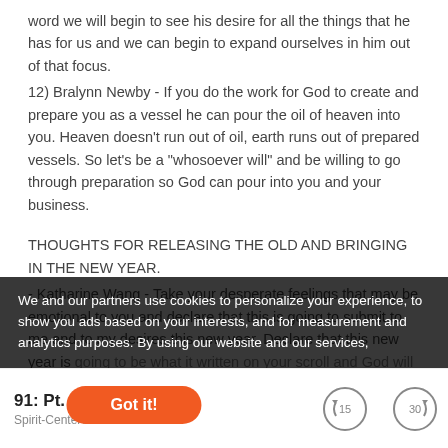word we will begin to see his desire for all the things that he has for us and we can begin to expand ourselves in him out of that focus.
12) Bralynn Newby - If you do the work for God to create and prepare you as a vessel he can pour the oil of heaven into you. Heaven doesn’t run out of oil, earth runs out of prepared vessels. So let’s be a “whosoever will” and be willing to go through preparation so God can pour into you and your business.
THOUGHTS FOR RELEASING THE OLD AND BRINGING IN THE NEW YEAR.
- Katharine Wang - Take your desperate feelings that may be emotional to you and declare that this is going to submit to me and to my desires this new year. Declare that this new year is going to be what is written on your scroll and God will use it so you can have breakthroughs as you step into limitless possibilities.
We and our partners use cookies to personalize your experience, to show you ads based on your interests, and for measurement and analytics purposes. By using our website and our services,
91: Pt. 2 Encounter...
Spirit-Centered Business™